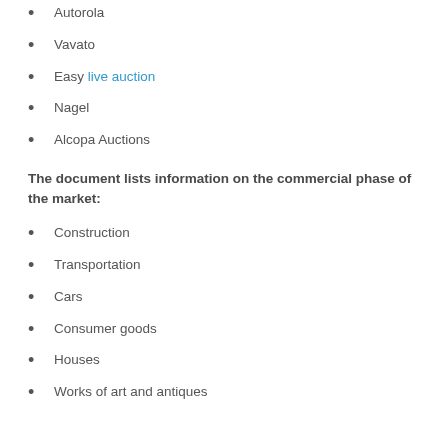Autorola
Vavato
Easy live auction
Nagel
Alcopa Auctions
The document lists information on the commercial phase of the market:
Construction
Transportation
Cars
Consumer goods
Houses
Works of art and antiques